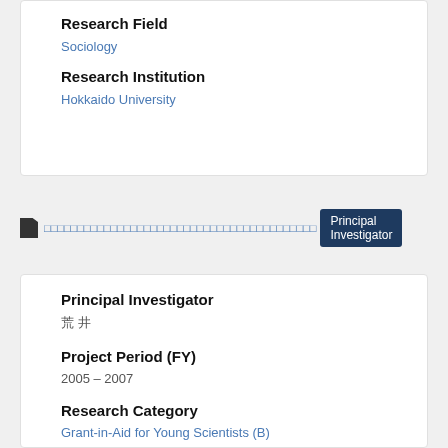Research Field
Sociology
Research Institution
Hokkaido University
□□□□□□□□□□□□□□□□□□□□□□□□□□□□□□□□□□□□□□□□□  Principal Investigator
Principal Investigator
荒 井
Project Period (FY)
2005 – 2007
Research Category
Grant-in-Aid for Young Scientists (B)
Research Field